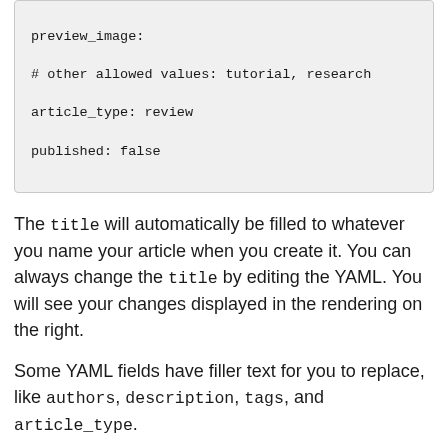preview_image:
# other allowed values: tutorial, research
article_type: review
published: false
The title will automatically be filled to whatever you name your article when you create it. You can always change the title by editing the YAML. You will see your changes displayed in the rendering on the right.
Some YAML fields have filler text for you to replace, like authors, description, tags, and article_type.
By default, authors will autofill with your username. If you want to add additional authors